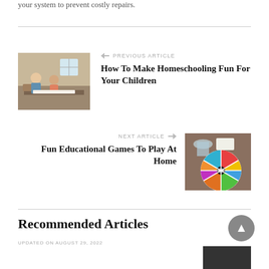your system to prevent costly repairs.
[Figure (photo): Children doing homeschooling activity at a table]
PREVIOUS ARTICLE
How To Make Homeschooling Fun For Your Children
NEXT ARTICLE
Fun Educational Games To Play At Home
[Figure (photo): Colorful spinning wheel game board on a table]
Recommended Articles
UPDATED ON AUGUST 29, 2022